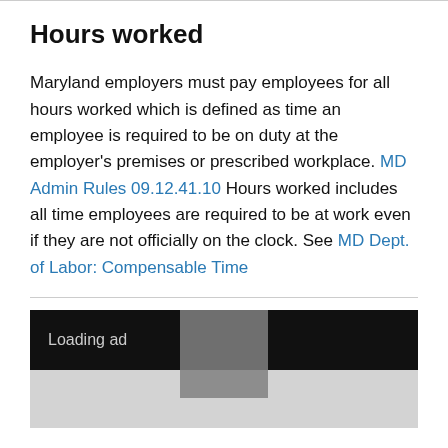Hours worked
Maryland employers must pay employees for all hours worked which is defined as time an employee is required to be on duty at the employer’s premises or prescribed workplace. MD Admin Rules 09.12.41.10 Hours worked includes all time employees are required to be at work even if they are not officially on the clock. See MD Dept. of Labor: Compensable Time
[Figure (other): Advertisement loading area showing 'Loading ad' text on black background with gray area below]